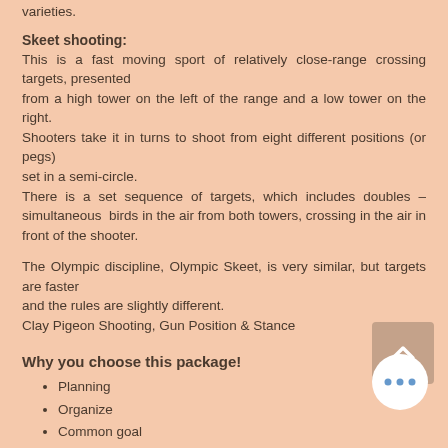varieties.
Skeet shooting:
This is a fast moving sport of relatively close-range crossing targets, presented from a high tower on the left of the range and a low tower on the right. Shooters take it in turns to shoot from eight different positions (or pegs) set in a semi-circle. There is a set sequence of targets, which includes doubles – simultaneous  birds in the air from both towers, crossing in the air in front of the shooter.
The Olympic discipline, Olympic Skeet, is very similar, but targets are faster and the rules are slightly different. Clay Pigeon Shooting, Gun Position & Stance
Why you choose this package!
Planning
Organize
Common goal
Team Performance
Fun & Memorable Experience.
D Adventure Tours